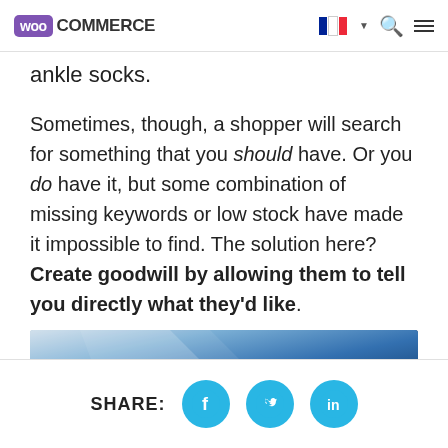WooCommerce
ankle socks.
Sometimes, though, a shopper will search for something that you should have. Or you do have it, but some combination of missing keywords or low stock have made it impossible to find. The solution here? Create goodwill by allowing them to tell you directly what they'd like.
[Figure (photo): Close-up photo with blue tones, appears to show a device or surface with light reflections]
SHARE: